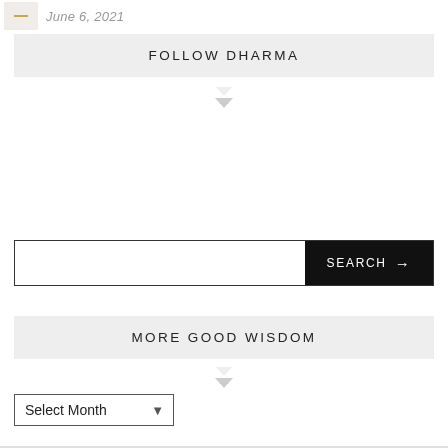June 6, 2021
FOLLOW DHARMA
[Figure (other): Search bar with text input field on the left and black SEARCH button with arrow on the right]
MORE GOOD WISDOM
[Figure (other): Select Month dropdown widget]